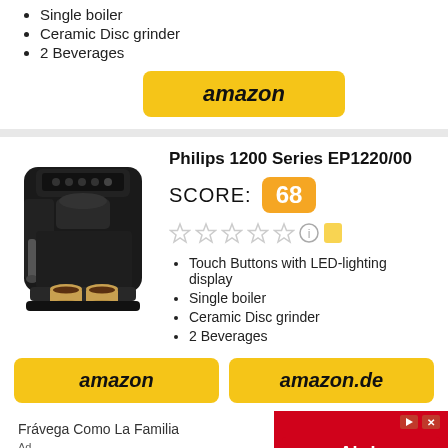Single boiler
Ceramic Disc grinder
2 Beverages
[Figure (logo): Amazon button - yellow rounded rectangle with italic bold 'amazon' text]
[Figure (photo): Philips 1200 Series EP1220/00 espresso machine, black color, front view with two cups]
Philips 1200 Series EP1220/00
SCORE: 68
[Figure (infographic): Five empty star ratings with info icon and eraser/edit icon]
Touch Buttons with LED-lighting display
Single boiler
Ceramic Disc grinder
2 Beverages
[Figure (logo): Amazon button - yellow rounded rectangle with italic bold 'amazon' text]
[Figure (logo): Amazon.de button - yellow rounded rectangle with italic bold 'amazon.de' text]
Frávega Como La Familia
Abrir
Ad